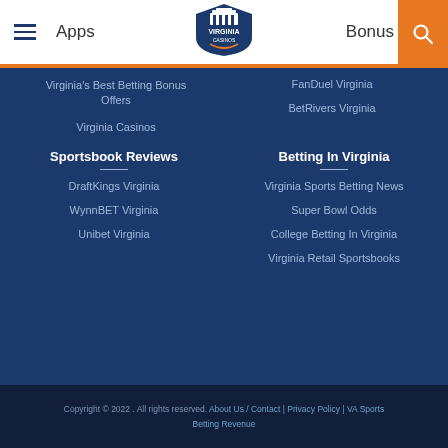Apps | Virginia Casinos | Bonus
Virginia's Best Betting Bonus Offers
FanDuel Virginia
BetRivers Virginia
Virginia Casinos
Sportsbook Reviews
Betting In Virginia
DraftKings Virginia
Virginia Sports Betting News
WynnBET Virginia
Super Bowl Odds
Unibet Virginia
College Betting In Virginia
Virginia Retail Sportsbooks
Copyright © 2022 . All rights reserved. About Us / Contact | Privacy Policy | VA Sports Betting Revenue